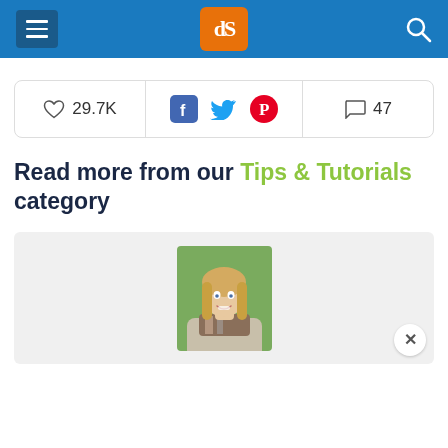dPS - Digital Photography School
29.7K likes · Share on Facebook, Twitter, Pinterest · 47 comments
Read more from our Tips & Tutorials category
[Figure (photo): Profile photo of a smiling blonde woman]